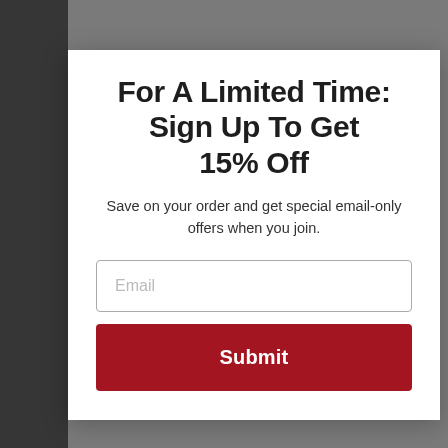For A Limited Time: Sign Up To Get 15% Off
Save on your order and get special email-only offers when you join.
Email
Submit